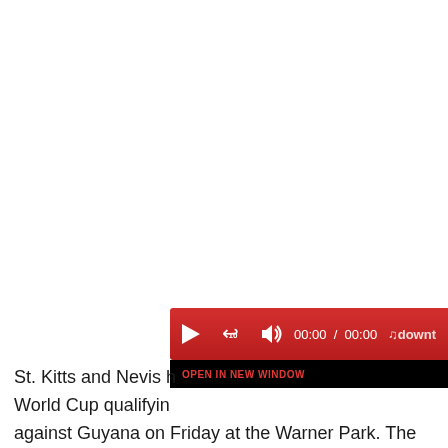[Figure (screenshot): Audio player widget with red gradient background showing play button, replay 10 button, volume icon, time display '00:00 / 00:00', and a logo on the right. Below is a black bar with 'OPEN IN NEW WINDOW' in red text.]
St. Kitts and Nevis h... World Cup qualifying... against Guyana on Friday at the Warner Park. The